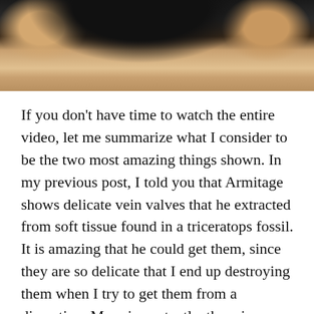[Figure (photo): Close-up photo of hands holding something, dark background at top with skin tones visible at sides and bottom]
If you don't have time to watch the entire video, let me summarize what I consider to be the two most amazing things shown. In my previous post, I told you that Armitage shows delicate vein valves that he extracted from soft tissue found in a triceratops fossil. It is amazing that he could get them, since they are so delicate that I end up destroying them when I try to get them from a dissection. More importantly, there is no possible way that such a vein valve could be from any source other than the dinosaur, since no organism that could possibly contaminate the fossil produces